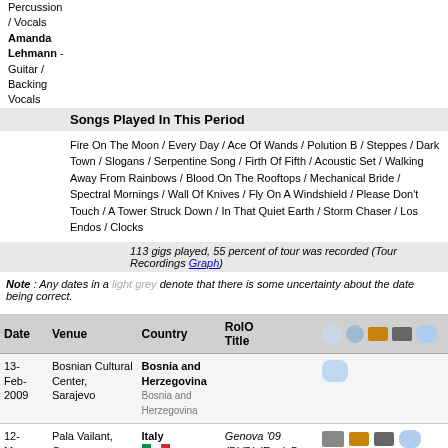Percussion / Vocals
Amanda Lehmann - Guitar / Backing Vocals
Songs Played In This Period
Fire On The Moon / Every Day / Ace Of Wands / Polution B / Steppes / Dark Town / Slogans / Serpentine Song / Firth Of Fifth / Acoustic Set / Walking Away From Rainbows / Blood On The Rooftops / Mechanical Bride / Spectral Mornings / Wall Of Knives / Fly On A Windshield / Please Don't Touch / A Tower Struck Down / In That Quiet Earth / Storm Chaser / Los Endos / Clocks
113 gigs played, 55 percent of tour was recorded (Tour Recordings Graph)
Note : Any dates in a light grey denote that there is some uncertainty about the date being correct.
| Date | Venue | Country | RoIO Title | Icons |
| --- | --- | --- | --- | --- |
| 13-Feb-2009 | Bosnian Cultural Center, Sarajevo | Bosnia and Herzegovina |  |  |
| 12-Mar-2009 | Pala Vailant, Genova | Italy | Genova '09 (DVD) (EagleDog Production) |  |
| 13-Mar-2009 | Teatro Astra, Schio | Italy | (MRDR Master Series Volume 1) |  |